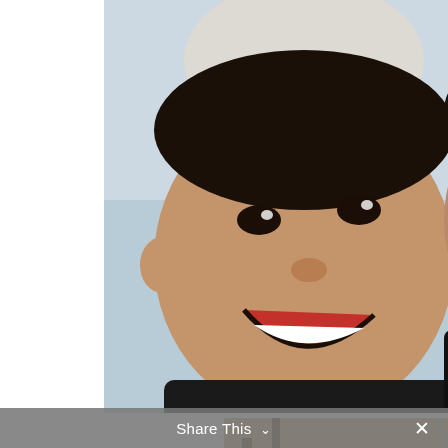[Figure (photo): Selfie-style photo of two young Asian boys smiling broadly at the camera alongside a young Asian woman with long brown wavy hair, outdoors in cold weather, all wearing dark winter jackets. A person partially visible in the background.]
[Figure (photo): Outdoor playground photo showing a young Asian woman with reddish-brown hair smiling while holding a young child on a swing. Colorful playground equipment (teal slide, red ladder, teal poles) visible in the background with bare trees and woodchip ground cover.]
Share This ∨  ×